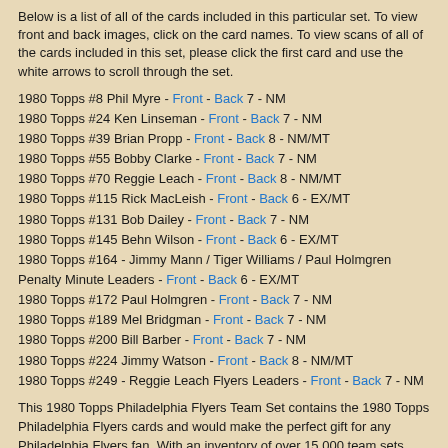Below is a list of all of the cards included in this particular set. To view front and back images, click on the card names. To view scans of all of the cards included in this set, please click the first card and use the white arrows to scroll through the set.
1980 Topps #8 Phil Myre - Front - Back 7 - NM
1980 Topps #24 Ken Linseman - Front - Back 7 - NM
1980 Topps #39 Brian Propp - Front - Back 8 - NM/MT
1980 Topps #55 Bobby Clarke - Front - Back 7 - NM
1980 Topps #70 Reggie Leach - Front - Back 8 - NM/MT
1980 Topps #115 Rick MacLeish - Front - Back 6 - EX/MT
1980 Topps #131 Bob Dailey - Front - Back 7 - NM
1980 Topps #145 Behn Wilson - Front - Back 6 - EX/MT
1980 Topps #164 - Jimmy Mann / Tiger Williams / Paul Holmgren Penalty Minute Leaders - Front - Back 6 - EX/MT
1980 Topps #172 Paul Holmgren - Front - Back 7 - NM
1980 Topps #189 Mel Bridgman - Front - Back 7 - NM
1980 Topps #200 Bill Barber - Front - Back 7 - NM
1980 Topps #224 Jimmy Watson - Front - Back 8 - NM/MT
1980 Topps #249 - Reggie Leach Flyers Leaders - Front - Back 7 - NM
This 1980 Topps Philadelphia Flyers Team Set contains the 1980 Topps Philadelphia Flyers cards and would make the perfect gift for any Philadelphia Flyers fan. With an inventory of over 15,000 team sets, Dean's Cards has Team Sets & Near Team Sets for just about every team, in multiple conditions, for all sports, for most major sets issued between 1909 and 1980 .
The cards ranked by Value:
1980 Topps #39 Brian Propp 8 - NM/MT